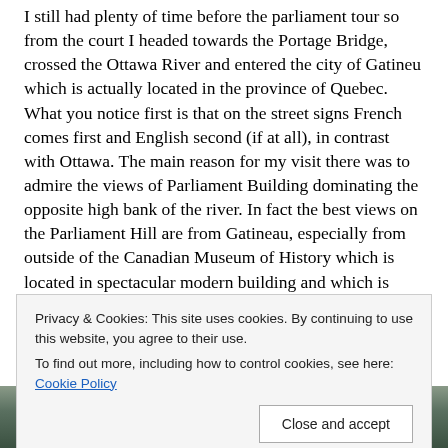I still had plenty of time before the parliament tour so from the court I headed towards the Portage Bridge, crossed the Ottawa River and entered the city of Gatineu which is actually located in the province of Quebec. What you notice first is that on the street signs French comes first and English second (if at all), in contrast with Ottawa. The main reason for my visit there was to admire the views of Parliament Building dominating the opposite high bank of the river. In fact the best views on the Parliament Hill are from Gatineau, especially from outside of the Canadian Museum of History which is located in spectacular modern building and which is highly regarded and recommended. Sadly I didn't have time for a visit. From this spot the parliament campus on the other
Privacy & Cookies: This site uses cookies. By continuing to use this website, you agree to their use.
To find out more, including how to control cookies, see here: Cookie Policy
[Figure (photo): Bottom strip showing the top of what appears to be Parliament Hill buildings with green/dark spires against a muted background]